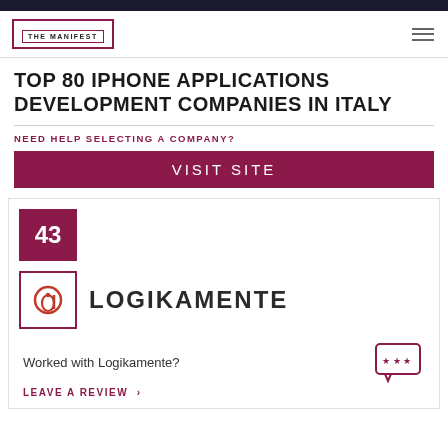THE MANIFEST
TOP 80 IPHONE APPLICATIONS DEVELOPMENT COMPANIES IN ITALY
NEED HELP SELECTING A COMPANY?
VISIT SITE
43
[Figure (logo): Logikamente company logo: red circle with 'a' icon inside a red-bordered square]
LOGIKAMENTE
Worked with Logikamente?
LEAVE A REVIEW >